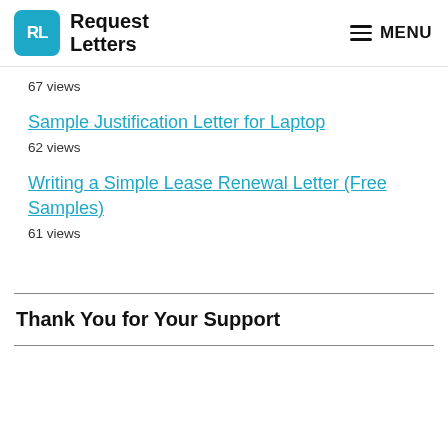Request Letters | MENU
67 views
Sample Justification Letter for Laptop
62 views
Writing a Simple Lease Renewal Letter (Free Samples)
61 views
Thank You for Your Support